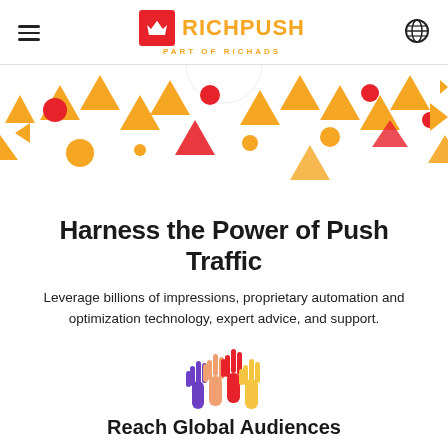RICHPUSH — PART OF RICHADS
[Figure (illustration): Colorful geometric pattern with triangles, circles, and arrow shapes in orange, yellow, and red colors on white background, partially visible at top of page]
Harness the Power of Push Traffic
Leverage billions of impressions, proprietary automation and optimization technology, expert advice, and support.
[Figure (illustration): Colorful raised hands emoji/icon with multiple colors including orange, red, and blue/purple hands raised together]
Reach Global Audiences